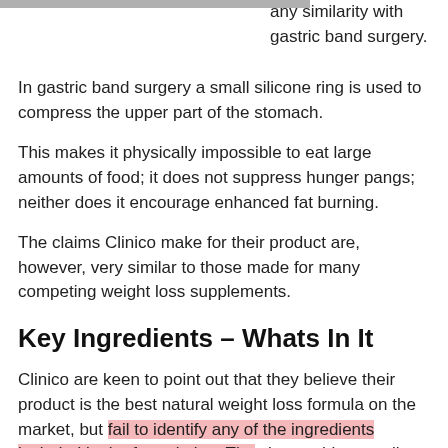[Figure (other): Gray horizontal bar image at top left]
any similarity with gastric band surgery.
In gastric band surgery a small silicone ring is used to compress the upper part of the stomach.
This makes it physically impossible to eat large amounts of food; it does not suppress hunger pangs; neither does it encourage enhanced fat burning.
The claims Clinico make for their product are, however, very similar to those made for many competing weight loss supplements.
Key Ingredients – Whats In It
Clinico are keen to point out that they believe their product is the best natural weight loss formula on the market, but fail to identify any of the ingredients included in the formulation. The closest thing to a list of ingredients is an overview: